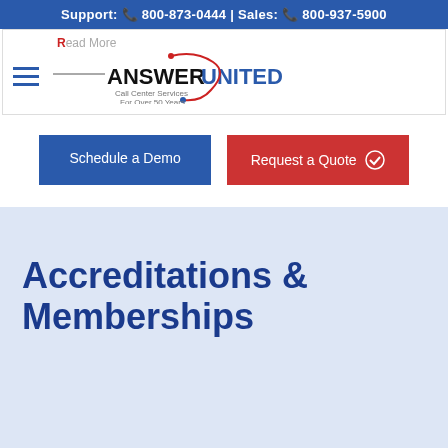Support: 800-873-0444 | Sales: 800-937-5900
[Figure (logo): Answer United logo — Call Center Services For Over 50 Years, with navigation hamburger menu and Read More link]
Schedule a Demo
Request a Quote
Accreditations & Memberships